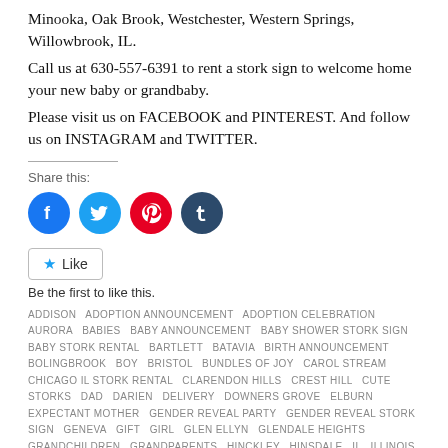Minooka, Oak Brook, Westchester, Western Springs, Willowbrook, IL.
Call us at 630-557-6391 to rent a stork sign to welcome home your new baby or grandbaby.
Please visit us on FACEBOOK and PINTEREST. And follow us on INSTAGRAM and TWITTER.
Share this:
[Figure (illustration): Social media share icons: Facebook (blue circle), Twitter (light blue circle), Pinterest (red circle), Tumblr (dark blue circle)]
Like
Be the first to like this.
ADDISON  ADOPTION ANNOUNCEMENT  ADOPTION CELEBRATION  AURORA  BABIES  BABY ANNOUNCEMENT  BABY SHOWER STORK SIGN  BABY STORK RENTAL  BARTLETT  BATAVIA  BIRTH ANNOUNCEMENT  BOLINGBROOK  BOY  BRISTOL  BUNDLES OF JOY  CAROL STREAM  CHICAGO IL STORK RENTAL  CLARENDON HILLS  CREST HILL  CUTE STORKS  DAD  DARIEN  DELIVERY  DOWNERS GROVE  ELBURN  EXPECTANT MOTHER  GENDER REVEAL PARTY  GENDER REVEAL STORK SIGN  GENEVA  GIFT  GIRL  GLEN ELLYN  GLENDALE HEIGHTS  GRANDCHILDREN  GRANDPARENTS  HINCKLEY  HINSDALE  IL  ILLINOIS BABIES  ILLINOIS STORKS  JOLIET  KIDS  LA GRANGE  LAWN